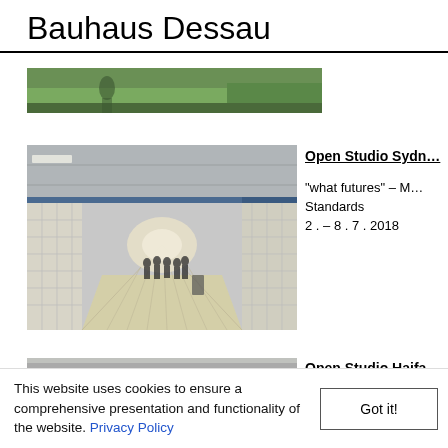Bauhaus Dessau
[Figure (photo): Cropped outdoor photo showing greenery and a person, partial view at top of page]
[Figure (photo): Interior photo of a tiled underground pedestrian tunnel/underpass with people walking toward the light at the far end]
Open Studio Sydn...
"what futures" – M... Standards
2 . – 8 . 7 . 2018
[Figure (photo): Exterior photo of a modernist building facade with concrete and glass elements, partial view]
Open Studio Haifa...
The Pioneers of th...
This website uses cookies to ensure a comprehensive presentation and functionality of the website. Privacy Policy
Got it!